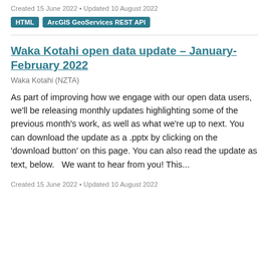Created 15 June 2022 • Updated 10 August 2022
HTML  ArcGIS GeoServices REST API
Waka Kotahi open data update – January-February 2022
Waka Kotahi (NZTA)
As part of improving how we engage with our open data users, we'll be releasing monthly updates highlighting some of the previous month's work, as well as what we're up to next. You can download the update as a .pptx by clicking on the 'download button' on this page. You can also read the update as text, below.   We want to hear from you! This...
Created 15 June 2022 • Updated 10 August 2022